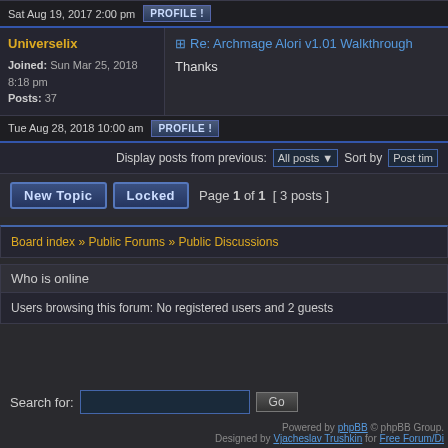Sat Aug 19, 2017 2:00 pm   PROFILE
Universelix
Joined: Sun Mar 25, 2018 8:18 pm
Posts: 37
Re: Archmage Alori v1.01 Walkthrough
Thanks
Tue Aug 28, 2018 10:00 am   PROFILE
Display posts from previous: All posts  Sort by  Post time
New Topic   Locked   Page 1 of 1  [ 3 posts ]
Board index » Public Forums » Public Discussions
Who is online
Users browsing this forum: No registered users and 2 guests
Search for:   Go
Powered by phpBB © phpBB Group. Designed by Vjacheslav Trushkin for Free Forum/Di...